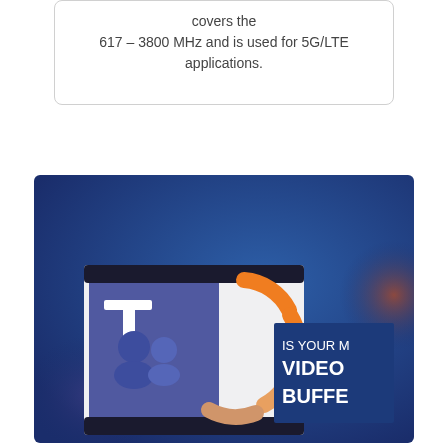covers the 617 – 3800 MHz and is used for 5G/LTE applications.
[Figure (screenshot): Screenshot showing a Microsoft Teams logo on a white screen overlapping a blue background with an orange circular loading/buffering icon and white text reading 'IS YOUR M VIDEO BUFFE' (truncated). A grey scroll-to-top button is visible on the right.]